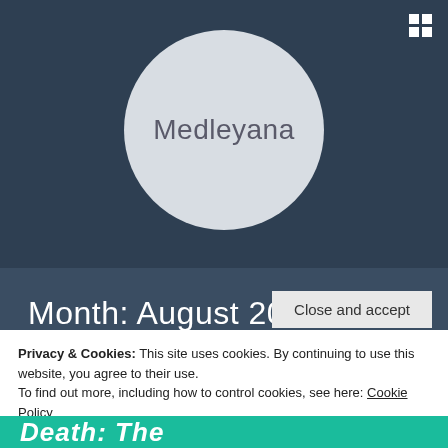[Figure (illustration): Website screenshot showing a blog or profile page. Dark blue-gray background with a large circular avatar placeholder containing the text 'Medleyana'. A grid/menu icon appears in the top right corner.]
Medleyana
Month: August 2015
Privacy & Cookies: This site uses cookies. By continuing to use this website, you agree to their use.
To find out more, including how to control cookies, see here: Cookie Policy
Close and accept
Death: The